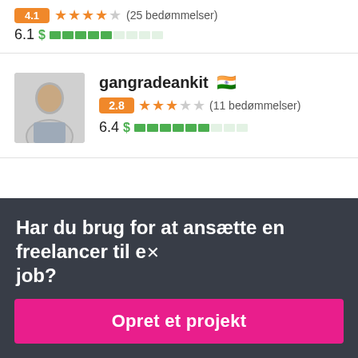6.1 $ (price bar) (25 bedømmelser)
[Figure (screenshot): Freelancer profile card for gangradeankit with Indian flag, rating 2.8 out of 5 stars (11 bedømmelser), price rating 6.4]
gangradeankit 🇮🇳
2.8 ★★★☆☆ (11 bedømmelser)
6.4 $ (price bar)
Har du brug for at ansætte en freelancer til et job?
Opret et projekt